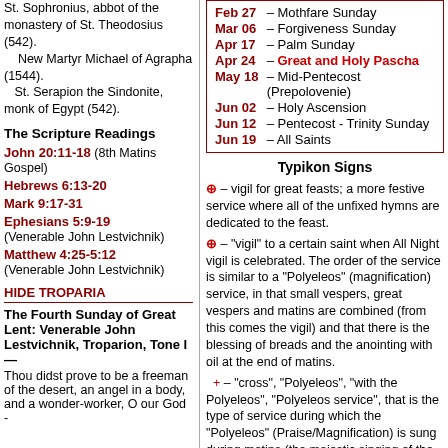St. Sophronius, abbot of the monastery of St. Theodosius (542). New Martyr Michael of Agrapha (1544). St. Serapion the Sindonite, monk of Egypt (542).
| Date | Event |
| --- | --- |
| Feb 27 | Mothfare Sunday |
| Mar 06 | Forgiveness Sunday |
| Apr 17 | Palm Sunday |
| Apr 24 | Great and Holy Pascha |
| May 18 | Mid-Pentecost (Prepolovenie) |
| Jun 02 | Holy Ascension |
| Jun 12 | Pentecost - Trinity Sunday |
| Jun 19 | All Saints |
The Scripture Readings
John 20:11-18 (8th Matins Gospel)
Hebrews 6:13-20
Mark 9:17-31
Ephesians 5:9-19 (Venerable John Lestvichnik)
Matthew 4:25-5:12 (Venerable John Lestvichnik)
HIDE TROPARIA
The Fourth Sunday of Great Lent: Venerable John Lestvichnik, Troparion, Tone I — Thou didst prove to be a freeman of the desert, an angel in a body, and a wonder-worker, O our God -
Typikon Signs
⊕ – vigil for great feasts; a more festive service where all of the unfixed hymns are dedicated to the feast.
⊕ – "vigil" to a certain saint when All Night vigil is celebrated. The order of the service is similar to a "Polyeleos" (magnification) service, in that small vespers, great vespers and matins are combined (from this comes the vigil) and that there is the blessing of breads and the anointing with oil at the end of matins.
+ – "cross", "Polyeleos", "with the Polyeleos", "Polyeleos service", that is the type of service during which the "Polyeleos" (Praise/Magnification) is sung during matins (the majestic singing of the 134 and 135 psalms with verses); in addition, during this service there is a reading from the Gospel, the prokeimenon, gradual antiphons, the canon with 8 troparions, the praises and Great Doxology are sung, and during vespers "Blessed is the man" is sung (first "Glor" of the 1st kathisma), there is an